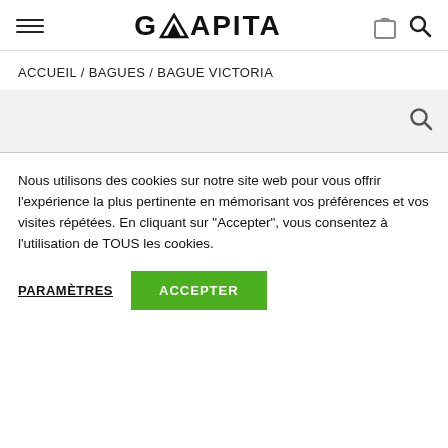GWAPITA — hamburger menu, shopping bag icon, search icon
ACCUEIL / BAGUES / BAGUE VICTORIA
[Figure (screenshot): Search bar area with search icon on right, light grey background]
Nous utilisons des cookies sur notre site web pour vous offrir l'expérience la plus pertinente en mémorisant vos préférences et vos visites répétées. En cliquant sur "Accepter", vous consentez à l'utilisation de TOUS les cookies.
PARAMÈTRES   ACCEPTER